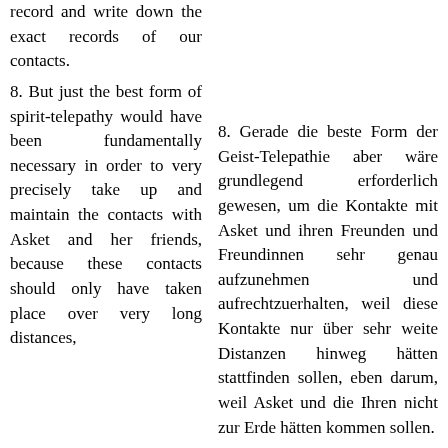record and write down the exact records of our contacts.
8. But just the best form of spirit-telepathy would have been fundamentally necessary in order to very precisely take up and maintain the contacts with Asket and her friends, because these contacts should only have taken place over very long distances,
8. Gerade die beste Form der Geist-Telepathie aber wäre grundlegend erforderlich gewesen, um die Kontakte mit Asket und ihren Freunden und Freundinnen sehr genau aufzunehmen und aufrechtzuerhalten, weil diese Kontakte nur über sehr weite Distanzen hinweg hätten stattfinden sollen, eben darum, weil Asket und die Ihren nicht zur Erde hätten kommen sollen.